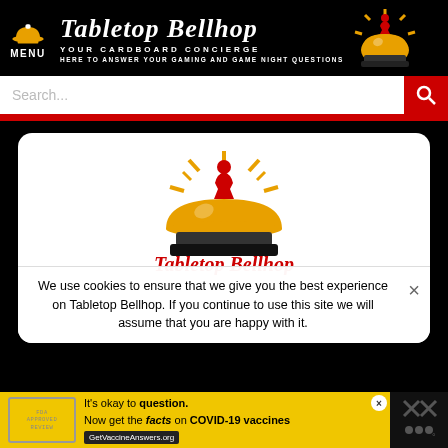[Figure (logo): Tabletop Bellhop website header with menu icon (bell + MENU text), site title 'Tabletop Bellhop' in decorative script, taglines 'YOUR CARDBOARD CONCIERGE' and 'HERE TO ANSWER YOUR GAMING AND GAME NIGHT QUESTIONS', and a hotel bell graphic on the right]
[Figure (screenshot): Search bar with 'Search...' placeholder text and red search button with magnifying glass icon]
[Figure (logo): Tabletop Bellhop logo: hotel bell with red meeple on top, radiating orange lines, and 'TABLETOP BELLHOP' text in red decorative script below]
We use cookies to ensure that we give you the best experience on Tabletop Bellhop. If you continue to use this site we will assume that you are happy with it.
[Figure (infographic): Yellow advertisement bar: stamp graphic, 'It's okay to question. Now get the facts on COVID-19 vaccines GetVaccineAnswers.org']